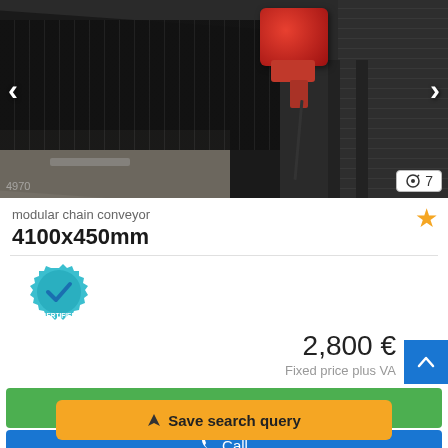[Figure (photo): Photo of a modular chain conveyor with red motor/gearbox, dark metal frame and mesh belt, outdoors on concrete, with navigation arrows and image count badge showing 7]
modular chain conveyor
4100x450mm
[Figure (logo): Certified Dealer badge - teal gear shape with checkmark and text CERTIFIED DEALER]
2,800 €
Fixed price plus VA
Send inquiry
Save search query
Call